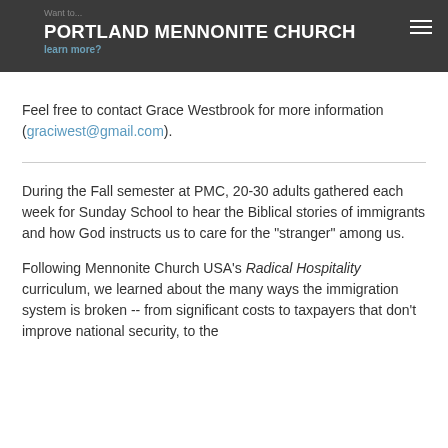Want to... PORTLAND MENNONITE CHURCH learn more?
Feel free to contact Grace Westbrook for more information (graciwest@gmail.com).
During the Fall semester at PMC, 20-30 adults gathered each week for Sunday School to hear the Biblical stories of immigrants and how God instructs us to care for the "stranger" among us.
Following Mennonite Church USA's Radical Hospitality curriculum, we learned about the many ways the immigration system is broken -- from significant costs to taxpayers that don't improve national security, to the